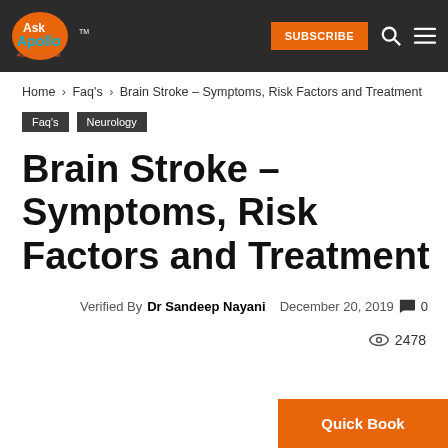Ask Apollo — SUBSCRIBE
Home › Faq's › Brain Stroke – Symptoms, Risk Factors and Treatment
Faq's   Neurology
Brain Stroke – Symptoms, Risk Factors and Treatment
Verified By Dr Sandeep Nayani   December 20, 2019   💬 0
👁 2478
Quick Book